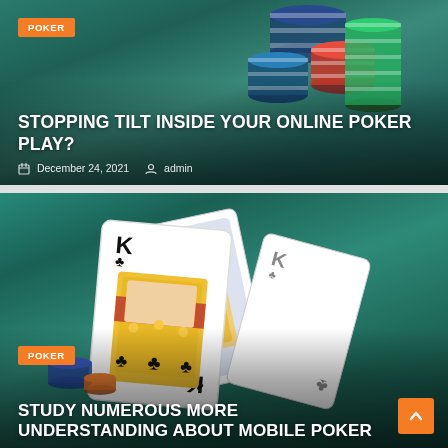[Figure (photo): Top article card showing poker chips stacked on a green felt table background, with orange POKER badge, article title, date and author metadata overlay]
STOPPING TILT INSIDE YOUR ONLINE POKER PLAY?
December 24, 2021  admin
[Figure (photo): Bottom article card showing King of Clubs playing cards fanned out on a green felt table, with orange POKER badge and article title overlay, and an orange scroll-to-top button in bottom right]
STUDY NUMEROUS MORE UNDERSTANDING ABOUT MOBILE POKER